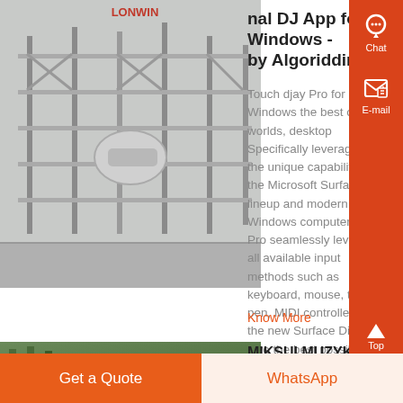[Figure (photo): Industrial machinery/scaffolding image with red logo text at top]
onal DJ App for Windows - by Algoriddim
Touch djay Pro for Windows the best of both worlds, desktop Specifically leveraging the unique capabilities of the Microsoft Surface lineup and modern Windows computers, djay Pro seamlessly leverages all available input methods such as keyboard, mouse, touch, pen, MIDI controllers, and the new Surface Dial to give the best possible control of all of djay Pro's ....
Know More
[Figure (photo): Green/dark colored machinery image]
MIKSUI MUZYKE ONLINE za
Get a Quote
WhatsApp